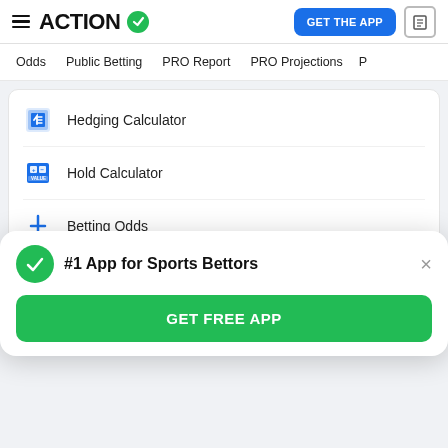ACTION (logo with checkmark) | GET THE APP | document icon
Odds
Public Betting
PRO Report
PRO Projections
Hedging Calculator
Hold Calculator
Betting Odds
How to Bet On Sports
Legal Sportsbook Details & Reviews
#1 App for Sports Bettors
GET FREE APP
Mistakes Sports Bettors Should Avoid...